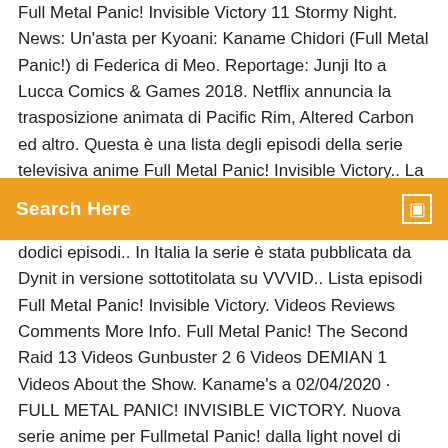Full Metal Panic! Invisible Victory 11 Stormy Night. News: Un'asta per Kyoani: Kaname Chidori (Full Metal Panic!) di Federica di Meo. Reportage: Junji Ito a Lucca Comics & Games 2018. Netflix annuncia la trasposizione animata di Pacific Rim, Altered Carbon ed altro. Questa è una lista degli episodi della serie televisiva anime Full Metal Panic! Invisible Victory.. La serie
Search Here
dodici episodi.. In Italia la serie è stata pubblicata da Dynit in versione sottotitolata su VVVID.. Lista episodi Full Metal Panic! Invisible Victory. Videos Reviews Comments More Info. Full Metal Panic! The Second Raid 13 Videos Gunbuster 2 6 Videos DEMIAN 1 Videos About the Show. Kaname's a 02/04/2020 · FULL METAL PANIC! INVISIBLE VICTORY. Nuova serie anime per Fullmetal Panic! dalla light novel di Shouji Gatoh. TRAMA: Kurama e Lee Fowler faranno la loro comparsa, Mao sarà promossa Tenente e indosserà una nuova uniforme, nuovi mecha, incluso il Cyclone, entreranno in azione. Looking for